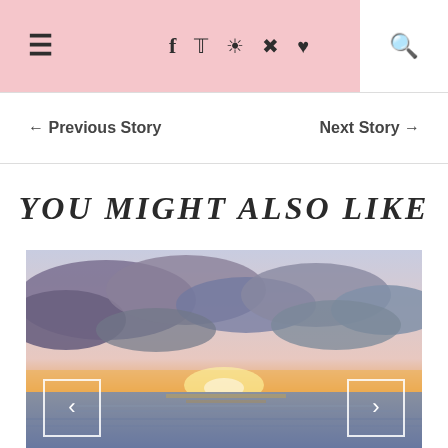Navigation bar with hamburger menu, social icons (f, Twitter, Instagram, Pinterest, Heart), and search icon
← Previous Story    Next Story →
YOU MIGHT ALSO LIKE
[Figure (photo): Sunset over the ocean with dramatic cloudy sky, warm orange and pink tones near the horizon, ocean in foreground. Navigation arrows on left and right sides.]